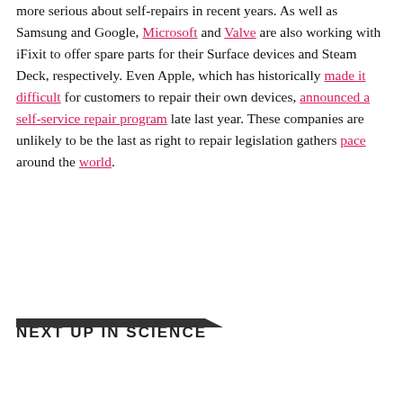more serious about self-repairs in recent years. As well as Samsung and Google, Microsoft and Valve are also working with iFixit to offer spare parts for their Surface devices and Steam Deck, respectively. Even Apple, which has historically made it difficult for customers to repair their own devices, announced a self-service repair program late last year. These companies are unlikely to be the last as right to repair legislation gathers pace around the world.
NEXT UP IN SCIENCE